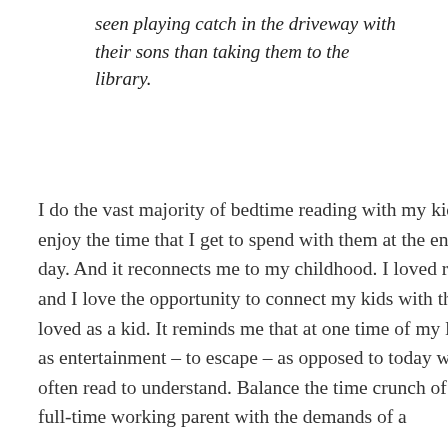seen playing catch in the driveway with their sons than taking them to the library.
I do the vast majority of bedtime reading with my kids. I enjoy the time that I get to spend with them at the end of each day. And it reconnects me to my childhood. I loved reading, and I love the opportunity to connect my kids with the books I loved as a kid. It reminds me that at one time of my life I read as entertainment – to escape – as opposed to today where I often read to understand. Balance the time crunch of being a full-time working parent with the demands of a